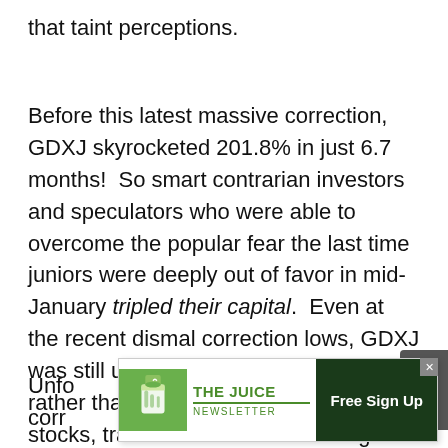that taint perceptions.
Before this latest massive correction, GDXJ skyrocketed 201.8% in just 6.7 months!  So smart contrarian investors and speculators who were able to overcome the popular fear the last time juniors were deeply out of favor in mid-January tripled their capital.  Even at the recent dismal correction lows, GDXJ was still up 75.7% year-to-date.  So rather than fearing these high-flying stocks, traders should be salivating at their lows!
Unfo[rtunately, this] corre[ction...]e
[Figure (other): Advertisement overlay for 'The Juice Newsletter' with a Free Sign Up button, green cup logo on left, text in center, dark green button on right. An X close button is visible in top-right corner.]